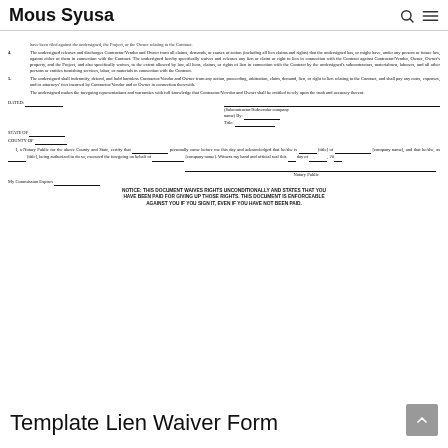Mous Syusa
have been filed against the undersigned, the Project, or the Owner relating to the Contract.
4. The undersigned releases and discharges Contractor/Vendor and Owner from all claims, demands, or causes of action (including all lien claims and rights) that the undersigned has, or might have, under any present or future law, against either of them in connection with the Contract. The undersigned hereby specifically waives and releases any lien or claim or right to lien in connection with the Contract against Contractor/Vendor, Owner, Owner's property, and the Project, and also specifically waives, to the extent allowed by law, all liens, claims, or rights of lien in connection with the Contract by the undersigned's subcontractors, materialmen, laborers, and all other persons or entities furnishing services, labor, or materials in connection with the Contract.
5. The undersigned shall indemnify, defend, and hold harmless Contractor/Vendor and Owner from any action, proceeding, arbitration, claim, demand, lien, or right to lien relating to the Contract, and shall pay any costs, expenses, and or attorneys' fees incurred by Contractor/Vendor and or Owner in connection therewith.
The undersigned makes the foregoing representations and warranties with full knowledge that Contractor/Vendor and Owner shall be entitled to rely upon the truth and accuracy thereof.
DATED: _________________ (Subcontractor/Subvendor company name) By: _________________ Title: _________________
STATE OF _________________ COUNTY OF _________________
I, a Notary Public for the above County and State, certify that _________________ personally came before me this day and acknowledged that he/she is _________________ [title] of _________________ [company name], and that he/she, as _________________ [title], being authorized to do so, executed the foregoing on behalf of _________________ [company name]. Witness my hand and official seal this ____ day of _________, 20__
Notary Public
My Commission Expires _________________
NOTICE: THIS DOCUMENT WAIVES RIGHTS UNCONDITIONALLY AND STATES THAT YOU HAVE BEEN PAID FOR GIVING UP THOSE RIGHTS. THIS DOCUMENT IS ENFORCEABLE AGAINST YOU IF YOU SIGN IT, EVEN IF YOU HAVE NOT BEEN PAID.
Template Lien Waiver Form